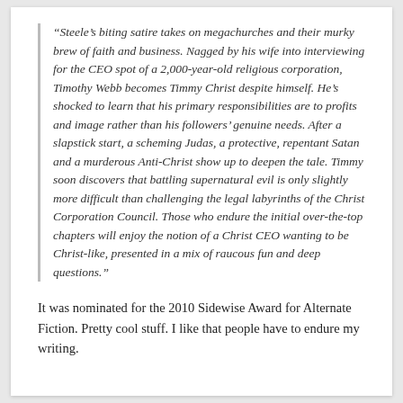“Steele’s biting satire takes on megachurches and their murky brew of faith and business. Nagged by his wife into interviewing for the CEO spot of a 2,000-year-old religious corporation, Timothy Webb becomes Timmy Christ despite himself. He’s shocked to learn that his primary responsibilities are to profits and image rather than his followers’ genuine needs. After a slapstick start, a scheming Judas, a protective, repentant Satan and a murderous Anti-Christ show up to deepen the tale. Timmy soon discovers that battling supernatural evil is only slightly more difficult than challenging the legal labyrinths of the Christ Corporation Council. Those who endure the initial over-the-top chapters will enjoy the notion of a Christ CEO wanting to be Christ-like, presented in a mix of raucous fun and deep questions.”
It was nominated for the 2010 Sidewise Award for Alternate Fiction. Pretty cool stuff. I like that people have to endure my writing.